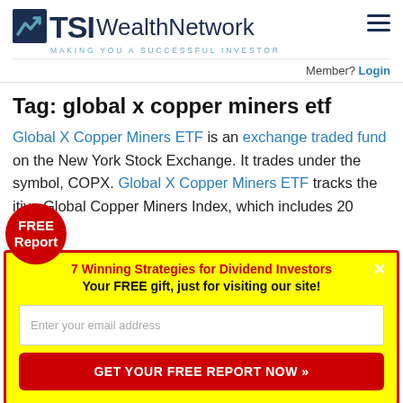TSI Wealth Network — MAKING YOU A SUCCESSFUL INVESTOR
Member? Login
Tag: global x copper miners etf
Global X Copper Miners ETF is an exchange traded fund on the New York Stock Exchange. It trades under the symbol, COPX. Global X Copper Miners ETF tracks the itive Global Copper Miners Index, which includes 20
[Figure (infographic): Red circular badge with text FREE Report]
7 Winning Strategies for Dividend Investors
Your FREE gift, just for visiting our site!
Enter your email address
GET YOUR FREE REPORT NOW »